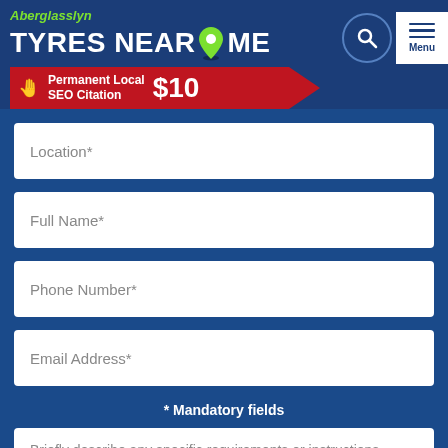Aberglasslyn TYRES NEAR ME
[Figure (screenshot): Red promotional banner reading 'Permanent Local SEO Citation $10' with a hand pointing icon]
Location*
Full Name*
Phone Number*
Email Address*
* Mandatory fields
Briefly describe any specific requirements or instructions